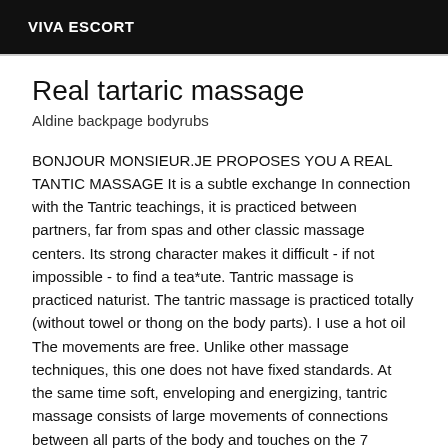VIVA ESCORT
Real tartaric massage
Aldine backpage bodyrubs
BONJOUR MONSIEUR.JE PROPOSES YOU A REAL TANTIC MASSAGE It is a subtle exchange In connection with the Tantric teachings, it is practiced between partners, far from spas and other classic massage centers. Its strong character makes it difficult - if not impossible - to find a tea*ute. Tantric massage is practiced naturist. The tantric massage is practiced totally (without towel or thong on the body parts). I use a hot oil The movements are free. Unlike other massage techniques, this one does not have fixed standards. At the same time soft, enveloping and energizing, tantric massage consists of large movements of connections between all parts of the body and touches on the 7 chakras (energy points). Tantric massage makes the